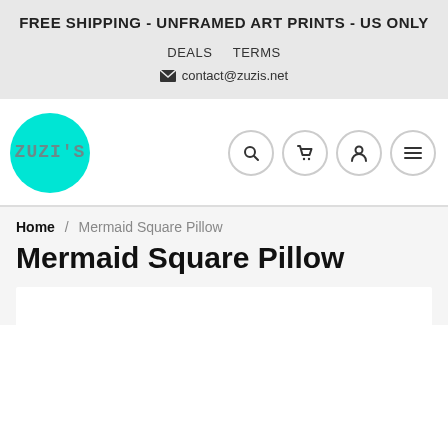FREE SHIPPING  -  UNFRAMED ART PRINTS -  US ONLY
DEALS   TERMS
contact@zuzis.net
[Figure (logo): Zuzi's logo: teal/cyan circle with text ZUZI'S in monospace font]
Home / Mermaid Square Pillow
Mermaid Square Pillow